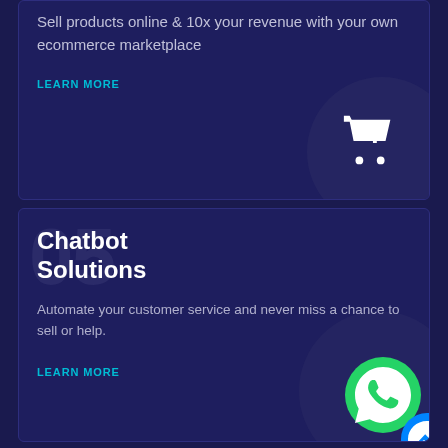Sell products online & 10x your revenue with your own ecommerce marketplace
LEARN MORE
[Figure (illustration): Shopping cart icon with plus symbol on a dark circular background]
Chatbot Solutions
Automate your customer service and never miss a chance to sell or help.
LEARN MORE
[Figure (illustration): WhatsApp and Messenger chatbot icons overlapping on dark circular background]